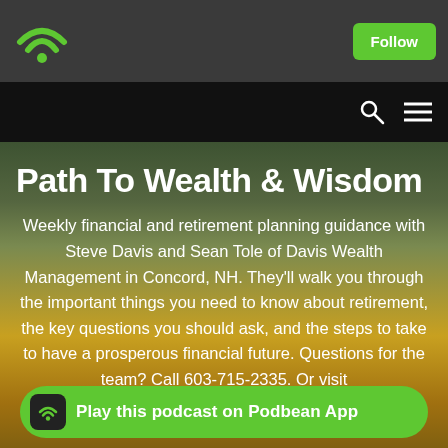[Figure (screenshot): Podbean podcast app UI screenshot showing 'Path To Wealth & Wisdom' podcast page with a dark header bar containing Podbean WiFi logo and Follow button, a black navigation bar with search and menu icons, a hero image of autumn mountain landscape, large white bold title 'Path To Wealth & Wisdom', descriptive text about the podcast, and a green 'Play this podcast on Podbean App' bar at the bottom.]
Path To Wealth & Wisdom
Weekly financial and retirement planning guidance with Steve Davis and Sean Tole of Davis Wealth Management in Concord, NH. They'll walk you through the important things you need to know about retirement, the key questions you should ask, and the steps to take to have a prosperous financial future. Questions for the team? Call 603-715-2335. Or visit https://...hope